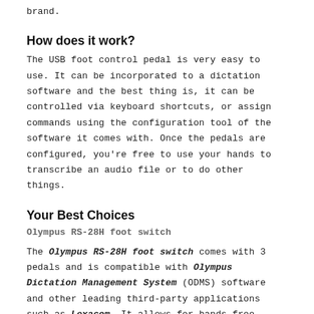brand.
How does it work?
The USB foot control pedal is very easy to use. It can be incorporated to a dictation software and the best thing is, it can be controlled via keyboard shortcuts, or assign commands using the configuration tool of the software it comes with. Once the pedals are configured, you're free to use your hands to transcribe an audio file or to do other things.
Your Best Choices
Olympus RS-28H foot switch
The Olympus RS-28H foot switch comes with 3 pedals and is compatible with Olympus Dictation Management System (ODMS) software and other leading third-party applications such as Lexacom. It allows for hands-free